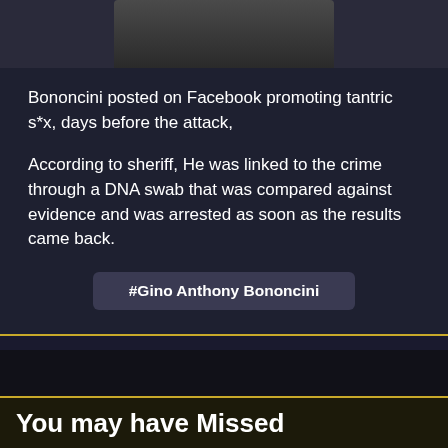[Figure (photo): Partial photo of a person (head/shoulders) cropped at top of page, dark background]
Bononcini posted on Facebook promoting tantric s*x, days before the attack,
According to sheriff, He was linked to the crime through a DNA swab that was compared against evidence and was arrested as soon as the results came back.
#Gino Anthony Bononcini
You may have Missed